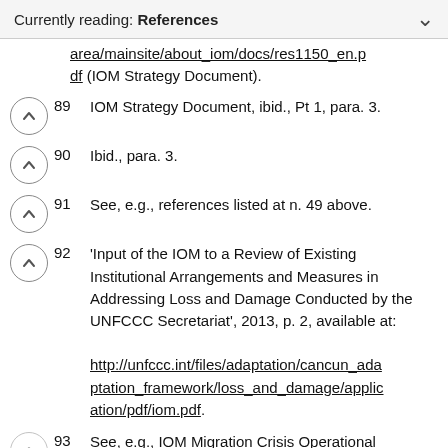Currently reading: References
area/mainsite/about_iom/docs/res1150_en.pdf (IOM Strategy Document).
89  IOM Strategy Document, ibid., Pt 1, para. 3.
90  Ibid., para. 3.
91  See, e.g., references listed at n. 49 above.
92  'Input of the IOM to a Review of Existing Institutional Arrangements and Measures in Addressing Loss and Damage Conducted by the UNFCCC Secretariat', 2013, p. 2, available at: http://unfccc.int/files/adaptation/cancun_adaptation_framework/loss_and_damage/application/pdf/iom.pdf.
93  See, e.g., IOM Migration Crisis Operational...